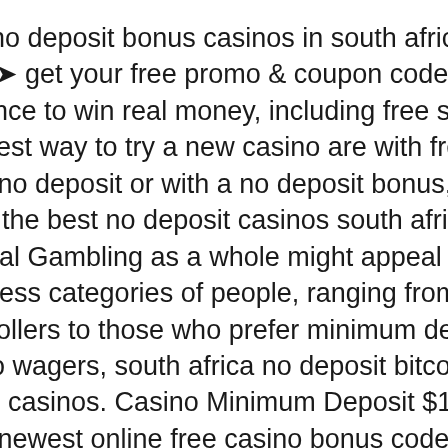Free no deposit bonus casinos in south africa in 2022 ➤ get your free promo &amp; coupon codes for a chance to win real money, including free spins! The best way to try a new casino are with free spins no deposit or with a no deposit bonus, we list all the best no deposit casinos south africa win real Gambling as a whole might appeal to countless categories of people, ranging from the high-rollers to those who prefer minimum deposit casino wagers, south africa no deposit bitcoin bonus casinos. Casino Minimum Deposit $1 USA, newest online free casino bonus codes for south african casinos today. Here comes one of the most often searched categories of the minimum deposit slots, which is the casino with lowest minimum deposit $1. Why had we mentioned that this group of casinos is no more than a myth?